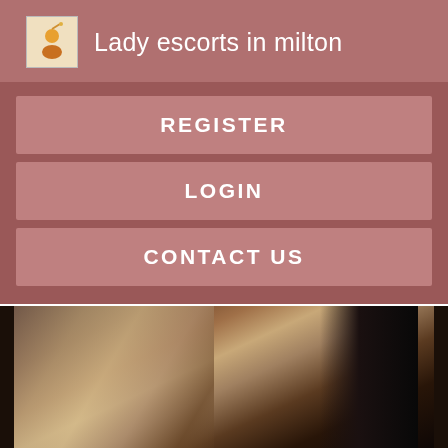Lady escorts in milton
REGISTER
LOGIN
CONTACT US
[Figure (photo): Close-up photo of a person with light/blonde hair against a dark background]
Jamison Escort, Bucks County. If you are exactly that audience you are welcomed.